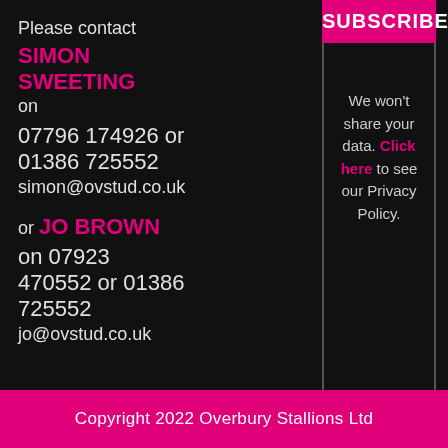Please contact SIMON SWEETING on 07796 174926 or 01386 725552 simon@ovstud.co.uk or JO BROWN on 07923 470552 or 01386 725552 jo@ovstud.co.uk
SUBSCRIBE
We won't share your data. Click here to see our Privacy Policy.
Copyright 2022 Overbury Stallions Ltd